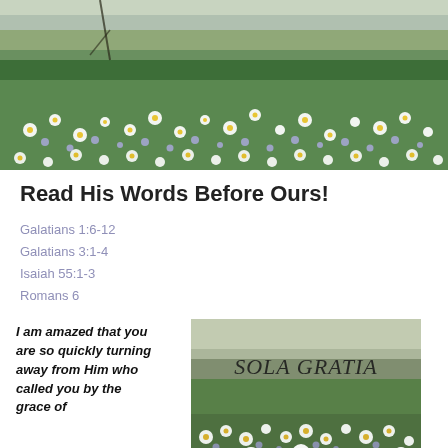[Figure (photo): Field of white and blue small flowers with green foliage, top banner photo]
Read His Words Before Ours!
Galatians 1:6-12
Galatians 3:1-4
Isaiah 55:1-3
Romans 6
I am amazed that you are so quickly turning away from Him who called you by the grace of
[Figure (photo): Field of white daisy-like flowers with text overlay 'SOLA GRATIA' in italic serif font]
Sola, Day 6